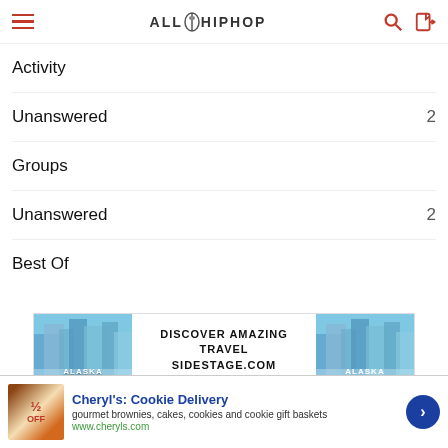AllHipHop
Activity
Unanswered  2
Groups
Unanswered  2
Best Of
[Figure (illustration): Advertisement banner showing Alaska glaciers with text: DISCOVER AMAZING TRAVEL SIDESTAGE.COM]
©AllHipHop 2020   DMCA
[Figure (illustration): Bottom ad: Cheryl's Cookie Delivery - gourmet brownies, cakes, cookies and cookie gift baskets. www.cheryls.com]